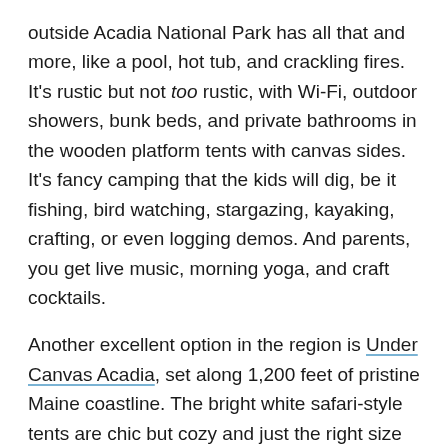outside Acadia National Park has all that and more, like a pool, hot tub, and crackling fires. It's rustic but not too rustic, with Wi-Fi, outdoor showers, bunk beds, and private bathrooms in the wooden platform tents with canvas sides. It's fancy camping that the kids will dig, be it fishing, bird watching, stargazing, kayaking, crafting, or even logging demos. And parents, you get live music, morning yoga, and craft cocktails.
Another excellent option in the region is Under Canvas Acadia, set along 1,200 feet of pristine Maine coastline. The bright white safari-style tents are chic but cozy and just the right size for families of up to seven. In a way, it's like summer camp but if you got to go with your kids for birdhouse painting, scavenger hunts, fireside chats, bingo, beach volleyball, and sunrise yoga.